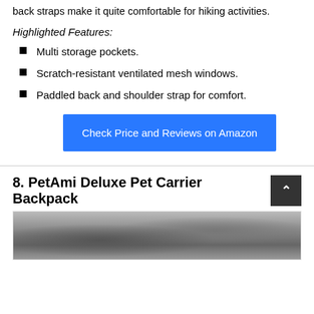back straps make it quite comfortable for hiking activities.
Highlighted Features:
Multi storage pockets.
Scratch-resistant ventilated mesh windows.
Paddled back and shoulder strap for comfort.
Check Price and Reviews on Amazon
8. PetAmi Deluxe Pet Carrier Backpack
[Figure (photo): Photo of a pet carrier backpack product, partially visible at the bottom of the page.]